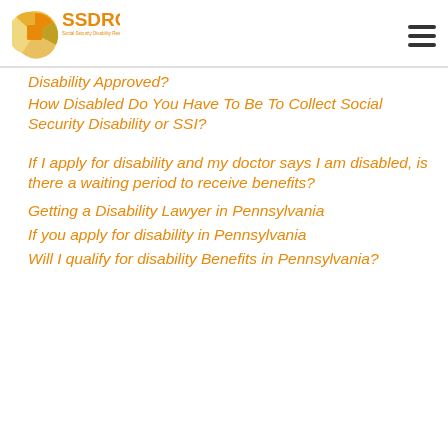[Figure (logo): SSDRC Social Security Disability Resource Center logo with circular icon and orange text]
How Disabled Do You Have To Be To Collect Social Security Disability or SSI?
Disability Approved?
How Disabled Do You Have To Be To Collect Social Security Disability or SSI?
If I apply for disability and my doctor says I am disabled, is there a waiting period to receive benefits?
Getting a Disability Lawyer in Pennsylvania
If you apply for disability in Pennsylvania
Will I qualify for disability Benefits in Pennsylvania?